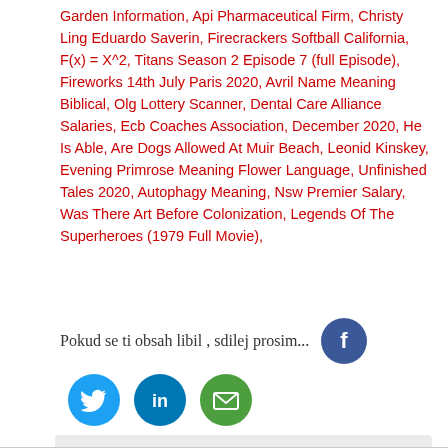Garden Information, Api Pharmaceutical Firm, Christy Ling Eduardo Saverin, Firecrackers Softball California, F(x) = X^2, Titans Season 2 Episode 7 (full Episode), Fireworks 14th July Paris 2020, Avril Name Meaning Biblical, Olg Lottery Scanner, Dental Care Alliance Salaries, Ecb Coaches Association, December 2020, He Is Able, Are Dogs Allowed At Muir Beach, Leonid Kinskey, Evening Primrose Meaning Flower Language, Unfinished Tales 2020, Autophagy Meaning, Nsw Premier Salary, Was There Art Before Colonization, Legends Of The Superheroes (1979 Full Movie),
Pokud se ti obsah libil , sdilej prosim...
[Figure (other): Social sharing icons: Facebook (blue circle with F), Twitter (blue circle with bird), LinkedIn (dark blue circle with in), Email (green circle with envelope). Plus a user avatar placeholder (grey circle with person silhouette).]